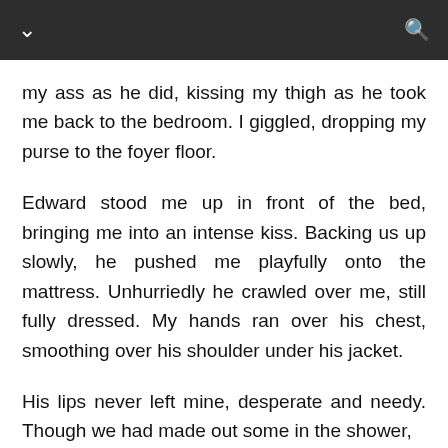my ass as he did, kissing my thigh as he took me back to the bedroom. I giggled, dropping my purse to the foyer floor.
Edward stood me up in front of the bed, bringing me into an intense kiss. Backing us up slowly, he pushed me playfully onto the mattress. Unhurriedly he crawled over me, still fully dressed. My hands ran over his chest, smoothing over his shoulder under his jacket.
His lips never left mine, desperate and needy. Though we had made out some in the shower,